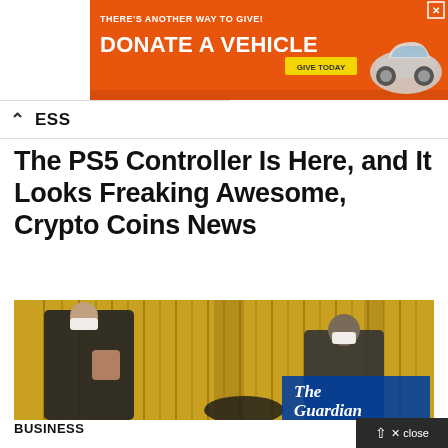[Figure (screenshot): Advertisement banner with orange background showing 'THERE'S ANOTHER WAY TO GIVE! DONATE A VEHICLE GIVE TODAY' with a car image and X close button]
BUSINESS
The PS5 Controller Is Here, and It Looks Freaking Awesome, Crypto Coins News
[Figure (photo): Two people wearing face masks walking outdoors near yellow metal containers, with The Guardian logo overlay in bottom right]
BUSINESS